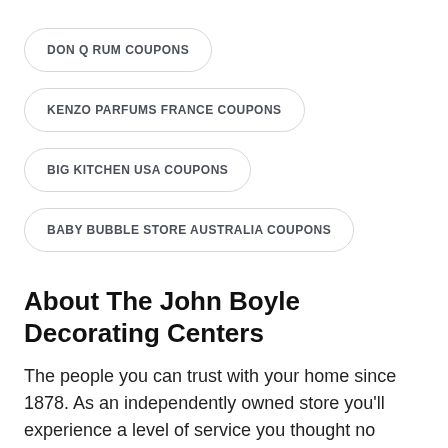DON Q RUM COUPONS
KENZO PARFUMS FRANCE COUPONS
BIG KITCHEN USA COUPONS
BABY BUBBLE STORE AUSTRALIA COUPONS
About The John Boyle Decorating Centers
The people you can trust with your home since 1878. As an independently owned store you'll experience a level of service you thought no longer existed while